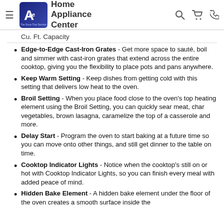Ace Home Appliance Center — The Store That Service Built
Cu. Ft. Capacity
Edge-to-Edge Cast-Iron Grates - Get more space to sauté, boil and simmer with cast-iron grates that extend across the entire cooktop, giving you the flexibility to place pots and pans anywhere.
Keep Warm Setting - Keep dishes from getting cold with this setting that delivers low heat to the oven.
Broil Setting - When you place food close to the oven's top heating element using the Broil Setting, you can quickly sear meat, char vegetables, brown lasagna, caramelize the top of a casserole and more.
Delay Start - Program the oven to start baking at a future time so you can move onto other things, and still get dinner to the table on time.
Cooktop Indicator Lights - Notice when the cooktop's still on or hot with Cooktop Indicator Lights, so you can finish every meal with added peace of mind.
Hidden Bake Element - A hidden bake element under the floor of the oven creates a smooth surface inside the